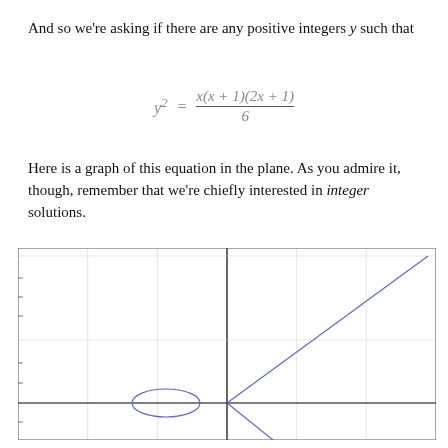And so we're asking if there are any positive integers y such that
Here is a graph of this equation in the plane. As you admire it, though, remember that we're chiefly interested in integer solutions.
[Figure (continuous-plot): Graph of y^2 = x(x+1)(2x+1)/6 in the plane, showing a small oval/loop near x=-1 and a diagonal line-like curve in the positive x region, with axes labeled 0, 1, 2 on y-axis.]